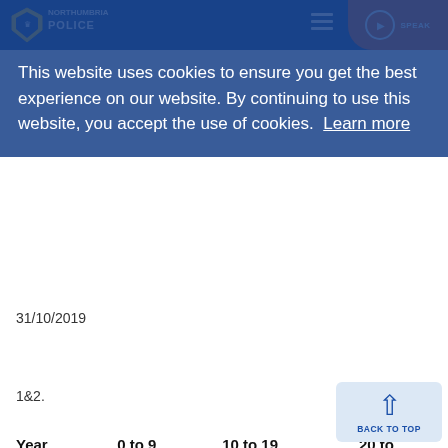[Figure (screenshot): Northumbria Police website header with logo, hamburger menu, and SPEAK button]
This website uses cookies to ensure you get the best experience on our website. By continuing to use this website, you accept the use of cookies. Learn more
31/10/2019
1&2.
| Year | 0 to 9 | 10 to 19 | 20 to |
| --- | --- | --- | --- |
| 2016 | 0 | 16 | 41 |
| 2017 | 0 | 25 |  |
| 2018 | 0 | 23 |  |
| 2019 | 0 | 28 | 47 |